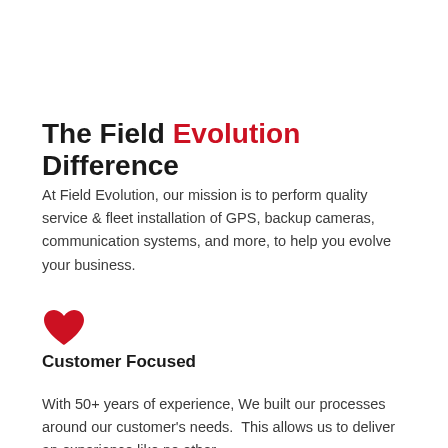The Field Evolution Difference
At Field Evolution, our mission is to perform quality service & fleet installation of GPS, backup cameras, communication systems, and more, to help you evolve your business.
[Figure (illustration): A red heart icon]
Customer Focused
With 50+ years of experience, We built our processes around our customer's needs.  This allows us to deliver an experience like no other.